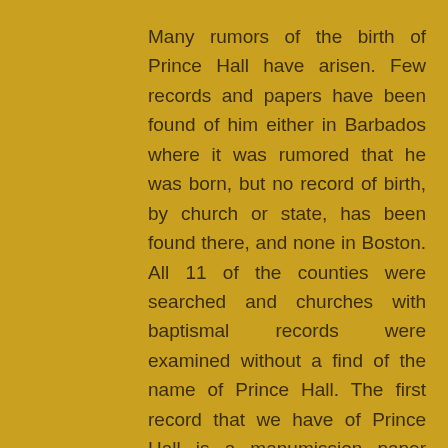Many rumors of the birth of Prince Hall have arisen. Few records and papers have been found of him either in Barbados where it was rumored that he was born, but no record of birth, by church or state, has been found there, and none in Boston. All 11 of the counties were searched and churches with baptismal records were examined without a find of the name of Prince Hall. The first record that we have of Prince Hall is a manumission paper filed by William Hall of Boston, and found in the Boston Athenaeum. This document tells us.

"Prince Hall has lived with us 21 years and served us well upon all occasions,